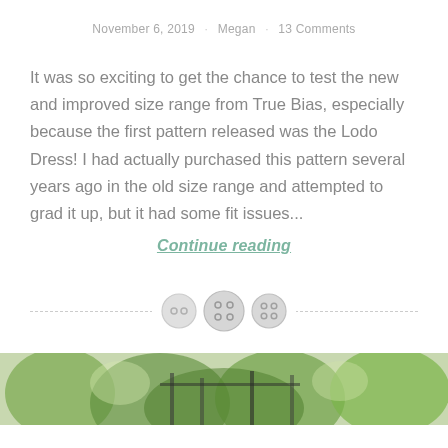November 6, 2019 · Megan · 13 Comments
It was so exciting to get the chance to test the new and improved size range from True Bias, especially because the first pattern released was the Lodo Dress! I had actually purchased this pattern several years ago in the old size range and attempted to grad it up, but it had some fit issues...
Continue reading
[Figure (illustration): Three decorative button icons used as a section divider between dashed lines]
[Figure (photo): Partial bottom image showing greenery and garden/outdoor scene, cropped at page edge]